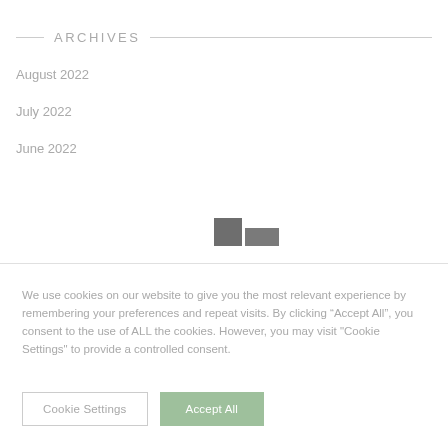ARCHIVES
August 2022
July 2022
June 2022
[Figure (other): Small dark grey square and rectangle icon]
We use cookies on our website to give you the most relevant experience by remembering your preferences and repeat visits. By clicking “Accept All”, you consent to the use of ALL the cookies. However, you may visit "Cookie Settings" to provide a controlled consent.
Cookie Settings   Accept All